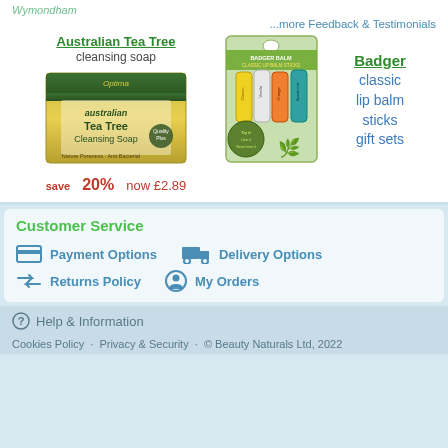Wymondham
...more Feedback & Testimonials
Australian Tea Tree
cleansing soap
save 20% now £2.89
[Figure (photo): Australian Tea Tree Cleansing Soap product image - green and yellow soap bar packaging]
Badger
classic lip balm sticks gift sets
[Figure (photo): Badger classic lip balm sticks gift set product image - green packaging with colorful lip balm sticks]
Customer Service
Payment Options
Delivery Options
Returns Policy
My Orders
Help & Information
Cookies Policy  ·  Privacy & Security  ·  © Beauty Naturals Ltd, 2022